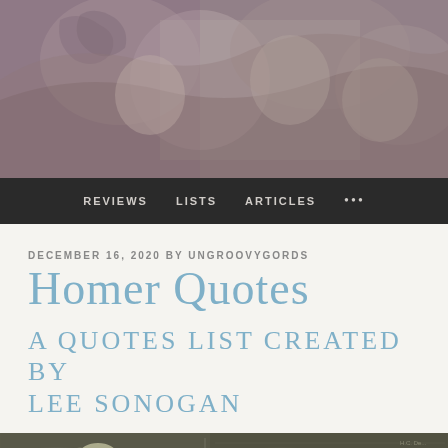[Figure (photo): Stone sculpture relief showing classical figures, tinted with purple-pink and grey tones, appears to be ancient Greek or Roman artwork]
REVIEWS   LISTS   ARTICLES   ...
DECEMBER 16, 2020 BY UNGROOVYGORDS
Homer Quotes
A QUOTES LIST CREATED BY LEE SONOGAN
[Figure (photo): Black and white engraving or illustration showing laurel leaves and classical imagery at the bottom of the page]